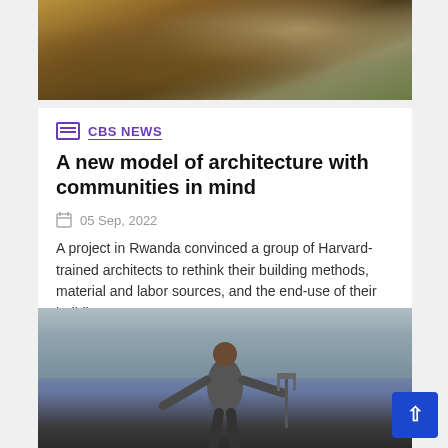[Figure (photo): Top portion of a photo showing rocks or stone textures in brown and earthy tones]
CBS NEWS
A new model of architecture with communities in mind
05 Sep, 2022
A project in Rwanda convinced a group of Harvard-trained architects to rethink their building methods, material and labor sources, and the end-use of their buildings....
View More »
[Figure (photo): Bottom portion showing a person in a grey hoodie with arms outstretched balancing, against a cloudy sky, with stadium lights visible in background]